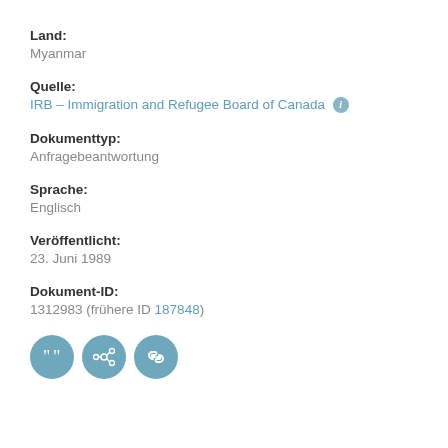Land:
Myanmar
Quelle:
IRB – Immigration and Refugee Board of Canada
Dokumenttyp:
Anfragebeantwortung
Sprache:
Englisch
Veröffentlicht:
23. Juni 1989
Dokument-ID:
1312983 (frühere ID 187848)
[Figure (infographic): Three circular icon buttons in teal/blue: quote icon, share icon, and link icon]